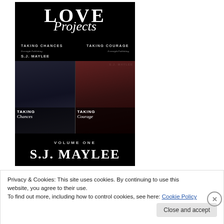[Figure (illustration): Book cover for 'Love Projects Volume One' by S.J. Maylee, showing two romance novel covers: 'Taking Chances' and 'Taking Courage', dark background with couples on each cover]
Privacy & Cookies: This site uses cookies. By continuing to use this website, you agree to their use.
To find out more, including how to control cookies, see here: Cookie Policy
Close and accept